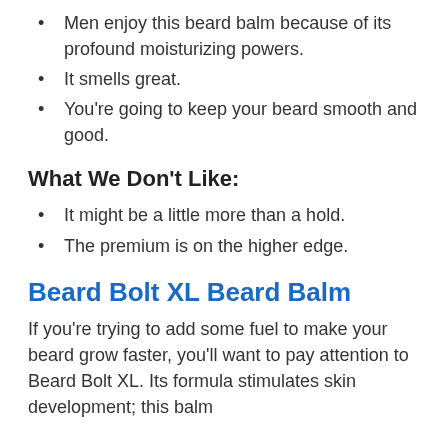Men enjoy this beard balm because of its profound moisturizing powers.
It smells great.
You're going to keep your beard smooth and good.
What We Don't Like:
It might be a little more than a hold.
The premium is on the higher edge.
Beard Bolt XL Beard Balm
If you're trying to add some fuel to make your beard grow faster, you'll want to pay attention to Beard Bolt XL. Its formula stimulates skin development; this balm